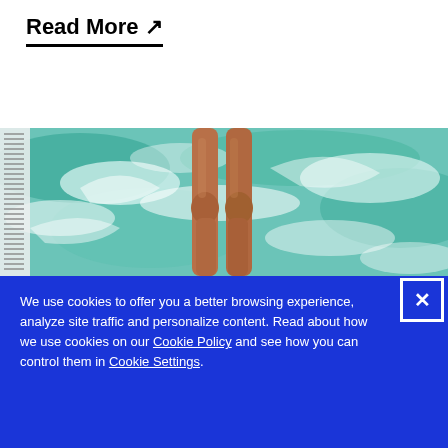Read More ↗
[Figure (photo): Photo of person's legs standing in turquoise water with white sea foam splashing around them, with a text/newspaper strip visible on the left edge]
We use cookies to offer you a better browsing experience, analyze site traffic and personalize content. Read about how we use cookies on our Cookie Policy and see how you can control them in Cookie Settings.